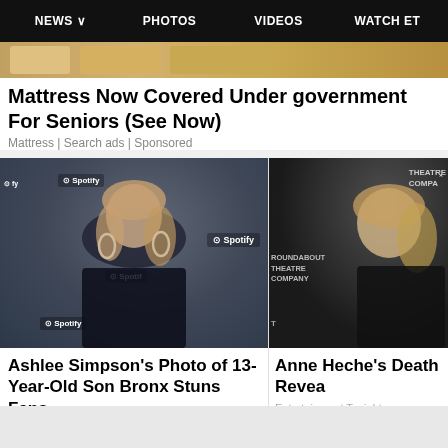NEWS  PHOTOS  VIDEOS  WATCH ET
Mattress Now Covered Under government For Seniors (See Now)
Mattress | Search ads | Sponsored
[Figure (photo): Ashlee Simpson at a Spotify event wearing black blazer, large hoop earrings, with Spotify logos in background]
[Figure (photo): Anne Heche at Roundabout Theatre Company event, partial view with dark background]
Ashlee Simpson's Photo of 13-Year-Old Son Bronx Stuns Fans
Anne Heche's Death Revea
Entertainment Tonight
Entertainment Tonight